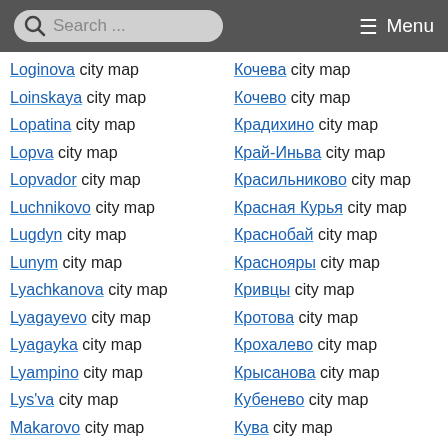Search ... Menu
Loginova city map
Кочева city map
Loinskaya city map
Кочево city map
Lopatina city map
Крадихино city map
Lopva city map
Край-Иньва city map
Lopvador city map
Красильниково city map
Luchnikovo city map
Красная Курья city map
Lugdyn city map
Краснобай city map
Lunym city map
Краснояры city map
Lyachkanova city map
Кривцы city map
Lyagayevo city map
Кротова city map
Lyagayka city map
Крохалево city map
Lyampino city map
Крысанова city map
Lys'va city map
Кубенево city map
Makarovo city map
Кува city map